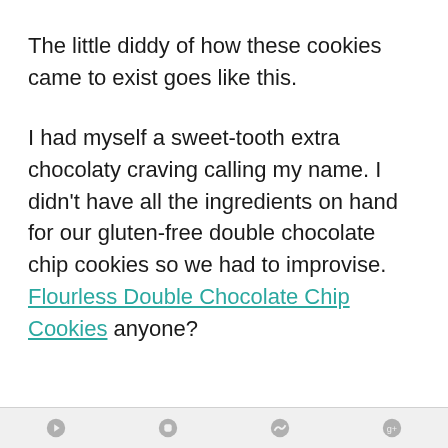The little diddy of how these cookies came to exist goes like this.
I had myself a sweet-tooth extra chocolaty craving calling my name. I didn't have all the ingredients on hand for our gluten-free double chocolate chip cookies so we had to improvise. Flourless Double Chocolate Chip Cookies anyone?
[social icons]